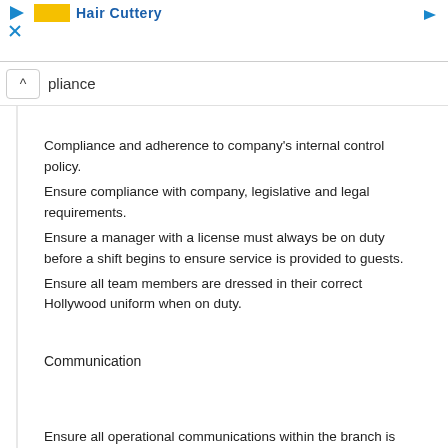Hair Cuttery
pliance
Compliance and adherence to company's internal control policy.
Ensure compliance with company, legislative and legal requirements.
Ensure a manager with a license must always be on duty before a shift begins to ensure service is provided to guests.
Ensure all team members are dressed in their correct Hollywood uniform when on duty.
Communication
Ensure all operational communications within the branch is...